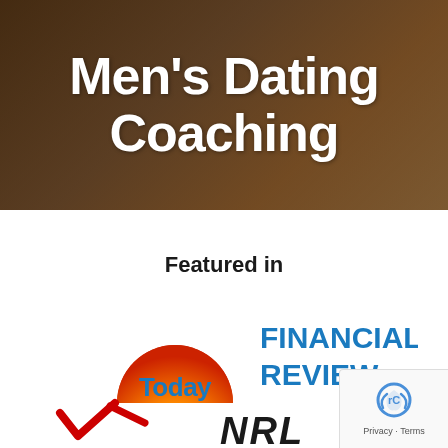Men's Dating Coaching
Featured in
[Figure (logo): Today show logo - orange/yellow sunrise arc with 'Today' text in blue]
[Figure (logo): Financial Review logo in bold blue uppercase text]
[Figure (logo): Verizon logo partial (bottom cut off), red checkmark visible]
[Figure (logo): NRL logo partial in bold italic black text]
[Figure (other): reCAPTCHA badge with robot icon and Privacy - Terms text]